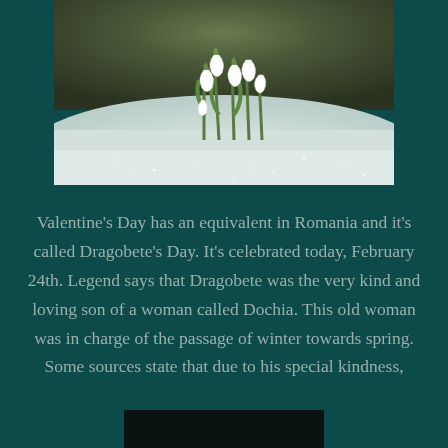[Figure (photo): Close-up photo of snowdrop flowers (white bell-shaped flowers with green stems) emerging from snow, with a dark blurred background of soil and winter vegetation.]
Valentine's Day has an equivalent in Romania and it's called Dragobete's Day. It's celebrated today, February 24th. Legend says that Dragobete was the very kind and loving son of a woman called Dochia. This old woman was in charge of the passage of winter towards spring. Some sources state that due to his special kindness,
[Figure (photo): Partial image visible at the bottom of the page, dark/black content.]